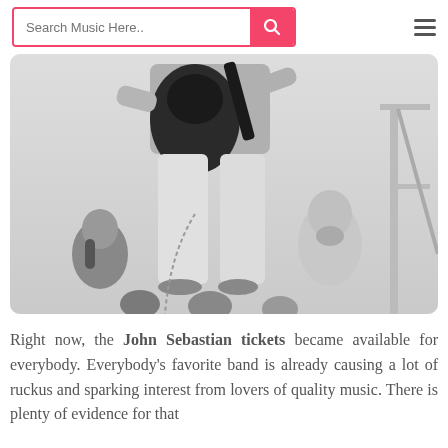Search Music Here..
[Figure (photo): Black and white photo of a performer on stage holding an acoustic guitar, wearing white pants and a light shirt. Crowd members visible in the background including a bearded man in a white t-shirt.]
Right now, the John Sebastian tickets became available for everybody. Everybody's favorite band is already causing a lot of ruckus and sparking interest from lovers of quality music. There is plenty of evidence for that